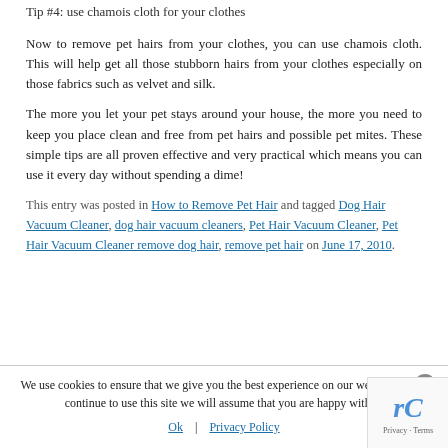Tip #4: use chamois cloth for your clothes
Now to remove pet hairs from your clothes, you can use chamois cloth. This will help get all those stubborn hairs from your clothes especially on those fabrics such as velvet and silk.
The more you let your pet stays around your house, the more you need to keep you place clean and free from pet hairs and possible pet mites. These simple tips are all proven effective and very practical which means you can use it every day without spending a dime!
This entry was posted in How to Remove Pet Hair and tagged Dog Hair Vacuum Cleaner, dog hair vacuum cleaners, Pet Hair Vacuum Cleaner, Pet Hair Vacuum Cleaner remove dog hair, remove pet hair on June 17, 2010.
We use cookies to ensure that we give you the best experience on our website. If you continue to use this site we will assume that you are happy with it.